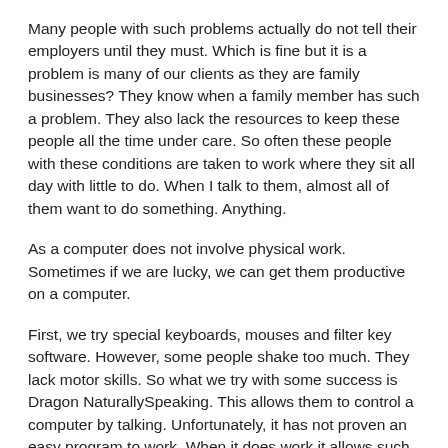Many people with such problems actually do not tell their employers until they must. Which is fine but it is a problem is many of our clients as they are family businesses? They know when a family member has such a problem. They also lack the resources to keep these people all the time under care. So often these people with these conditions are taken to work where they sit all day with little to do. When I talk to them, almost all of them want to do something. Anything.
As a computer does not involve physical work. Sometimes if we are lucky, we can get them productive on a computer.
First, we try special keyboards, mouses and filter key software. However, some people shake too much. They lack motor skills. So what we try with some success is Dragon NaturallySpeaking. This allows them to control a computer by talking. Unfortunately, it has not proven an easy program to work. When it does work it allows such people to work, but the big problem is that it requires a lot of skill with this software. Fortunately, the Multiple Sclerosis society